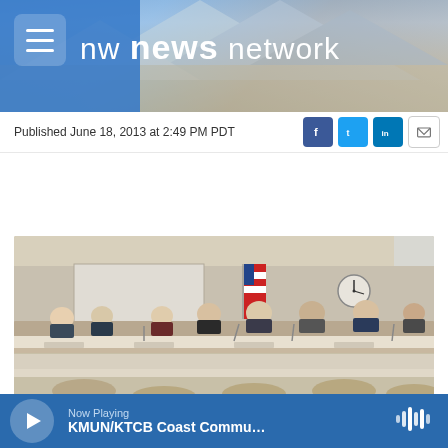[Figure (screenshot): NW News Network website header with mountain background, hamburger menu icon, and logo text 'nw news network']
Published June 18, 2013 at 2:49 PM PDT
[Figure (other): Listen audio button showing play icon, 'LISTEN • 1:14']
[Figure (photo): Group of people in business attire seated at a long panel desk in a meeting room with an American flag and clock on the wall]
Now Playing
KMUN/KTCB Coast Commu...